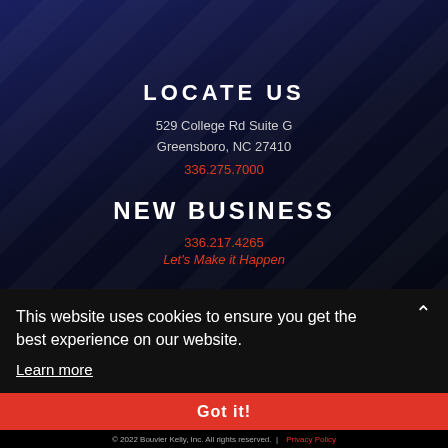LOCATE US
529 College Rd Suite G
Greensboro, NC 27410
336.275.7000
NEW BUSINESS
336.217.4265
Let's Make it Happen
CAREERS
We make it happen...
This website uses cookies to ensure you get the best experience on our website.
Learn more
Got it!
© 2022 Bouvier Kelly, Inc. All rights reserved. | Privacy Policy